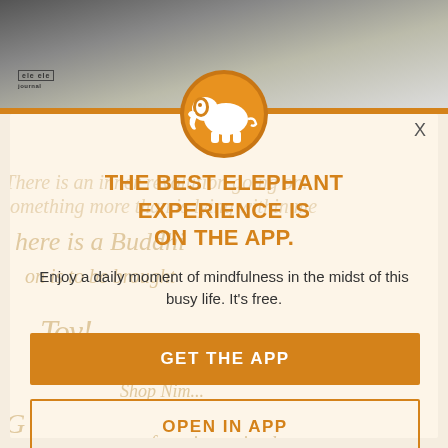[Figure (photo): Background photo showing a close-up of what appears to be an elephant, grayscale tones, at the top of the page behind a modal overlay]
[Figure (illustration): Orange circle with white elephant silhouette icon, positioned at the top center of the modal dialog]
X
THE BEST ELEPHANT EXPERIENCE IS ON THE APP.
Enjoy a daily moment of mindfulness in the midst of this busy life. It's free.
GET THE APP
OPEN IN APP